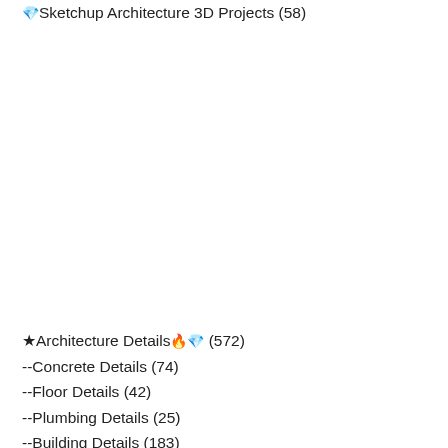💎Sketchup Architecture 3D Projects (58)
★Architecture Details🔥💎 (572)
--Concrete Details (74)
--Floor Details (42)
--Plumbing Details (25)
--Building Details (183)
--Ceiling Details (113)